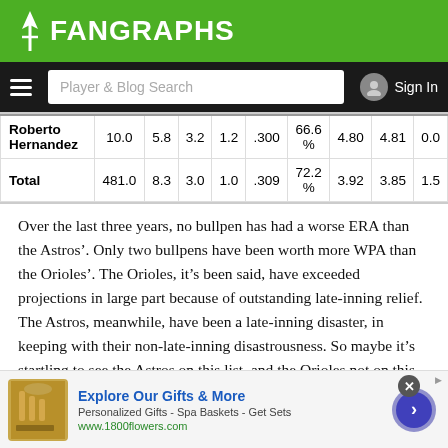FanGraphs
| Name | IP | K/9 | BB/9 | HR/9 | BABIP | LOB% | ERA | FIP | WAR |
| --- | --- | --- | --- | --- | --- | --- | --- | --- | --- |
| Roberto Hernandez | 10.0 | 5.8 | 3.2 | 1.2 | .300 | 66.6% | 4.80 | 4.81 | 0.0 |
| Total | 481.0 | 8.3 | 3.0 | 1.0 | .309 | 72.2% | 3.92 | 3.85 | 1.5 |
Over the last three years, no bullpen has had a worse ERA than the Astros’. Only two bullpens have been worth more WPA than the Orioles’. The Orioles, it’s been said, have exceeded projections in large part because of outstanding late-inning relief. The Astros, meanwhile, have been a late-inning disaster, in keeping with their non-late-inning disastrousness. So maybe it’s startling to see the Astros on this list, and the Orioles not on this